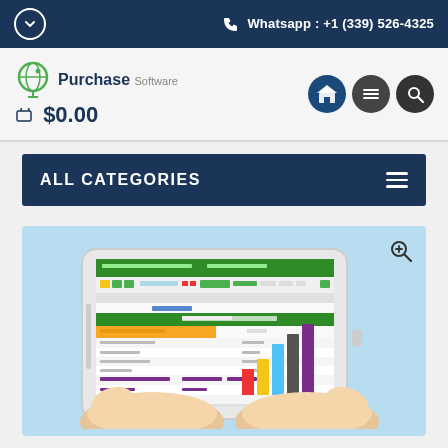Whatsapp : +1 (339) 526-4325
[Figure (logo): Purchase Software logo with shopping cart icon and $0.00 price display, plus store/menu/search icon buttons]
ALL CATEGORIES
[Figure (illustration): Illustration of a tablet device showing a spreadsheet/purchase software interface with bar charts, held by two hands, on a light blue background with a zoom icon in the top right corner]